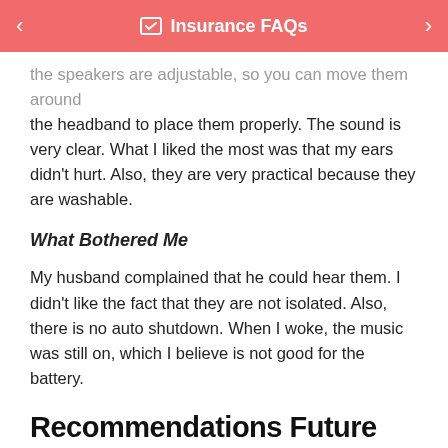Insurance FAQs
the speakers are adjustable, so you can move them around the headband to place them properly. The sound is very clear. What I liked the most was that my ears didn't hurt. Also, they are very practical because they are washable.
What Bothered Me
My husband complained that he could hear them. I didn't like the fact that they are not isolated. Also, there is no auto shutdown. When I woke, the music was still on, which I believe is not good for the battery.
Recommendations Future
I AM READY TO CALL
Who Answers?